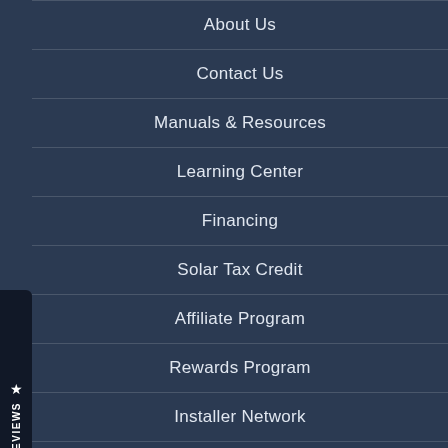About Us
Contact Us
Manuals & Resources
Learning Center
Financing
Solar Tax Credit
Affiliate Program
Rewards Program
Installer Network